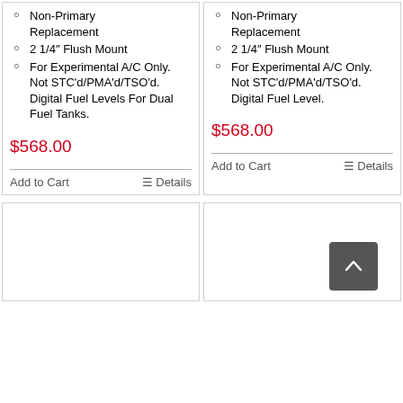Non-Primary Replacement
2 1/4" Flush Mount
For Experimental A/C Only. Not STC'd/PMA'd/TSO'd. Digital Fuel Levels For Dual Fuel Tanks.
$568.00
Non-Primary Replacement
2 1/4" Flush Mount
For Experimental A/C Only. Not STC'd/PMA'd/TSO'd. Digital Fuel Level.
$568.00